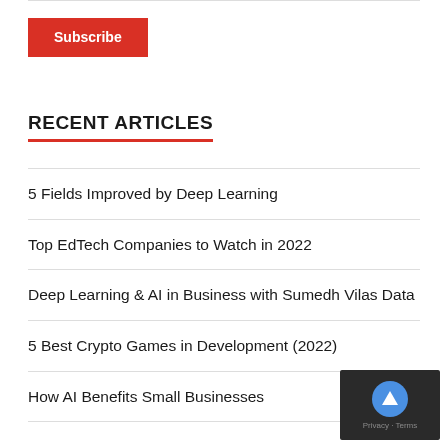[Figure (other): Subscribe button — red rectangle with white bold text 'Subscribe']
RECENT ARTICLES
5 Fields Improved by Deep Learning
Top EdTech Companies to Watch in 2022
Deep Learning & AI in Business with Sumedh Vilas Data
5 Best Crypto Games in Development (2022)
How AI Benefits Small Businesses